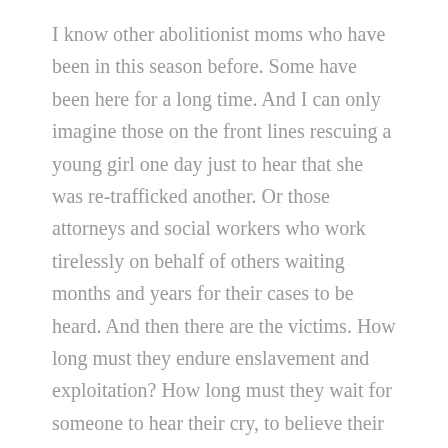I know other abolitionist moms who have been in this season before. Some have been here for a long time. And I can only imagine those on the front lines rescuing a young girl one day just to hear that she was re-trafficked another. Or those attorneys and social workers who work tirelessly on behalf of others waiting months and years for their cases to be heard. And then there are the victims. How long must they endure enslavement and exploitation? How long must they wait for someone to hear their cry, to believe their story, to rescue them?
Justice is tedious. It requires steadfast focus. It requires resilience and perseverance. It requires strength. It requires determination.
And yet it is okay. As I type these words I know this is